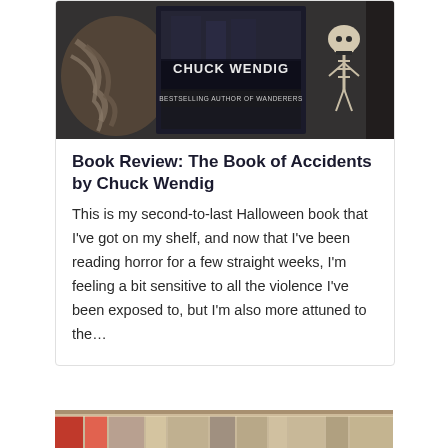[Figure (photo): Photo of a book cover showing 'CHUCK WENDIG BESTSELLING AUTHOR OF WANDERERS' with decorative skulls and rope/twine objects arranged around the book on a dark background.]
Book Review: The Book of Accidents by Chuck Wendig
This is my second-to-last Halloween book that I've got on my shelf, and now that I've been reading horror for a few straight weeks, I'm feeling a bit sensitive to all the violence I've been exposed to, but I'm also more attuned to the…
[Figure (photo): Partial photo of books on a shelf showing spines, bottom portion of the page.]